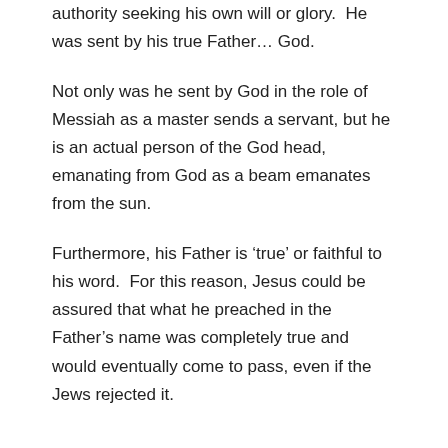authority seeking his own will or glory.  He was sent by his true Father… God.
Not only was he sent by God in the role of Messiah as a master sends a servant, but he is an actual person of the God head, emanating from God as a beam emanates from the sun.
Furthermore, his Father is 'true' or faithful to his word.  For this reason, Jesus could be assured that what he preached in the Father's name was completely true and would eventually come to pass, even if the Jews rejected it.